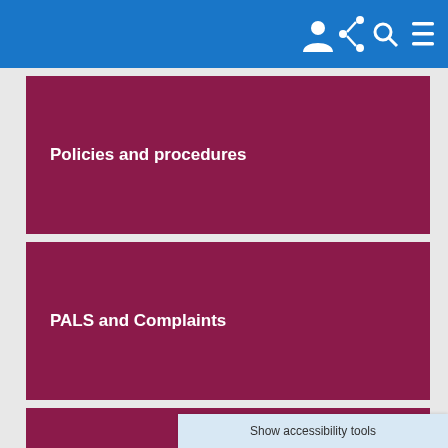Navigation bar with icons: user, share, search, menu
Policies and procedures
PALS and Complaints
Patient Safety Team
Show accessibility tools